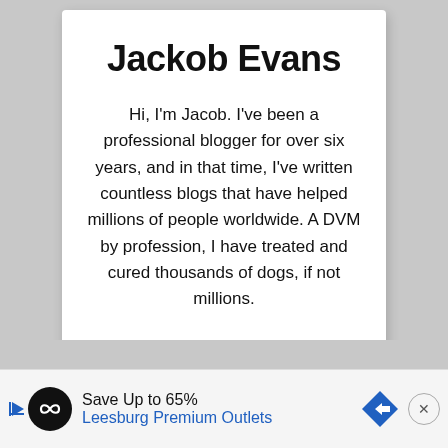Jackob Evans
Hi, I'm Jacob. I've been a professional blogger for over six years, and in that time, I've written countless blogs that have helped millions of people worldwide. A DVM by profession, I have treated and cured thousands of dogs, if not millions.
...
[Figure (infographic): Advertisement banner: Save Up to 65% Leesburg Premium Outlets, with play icon, logo circle, navigation arrow diamond, and close button]